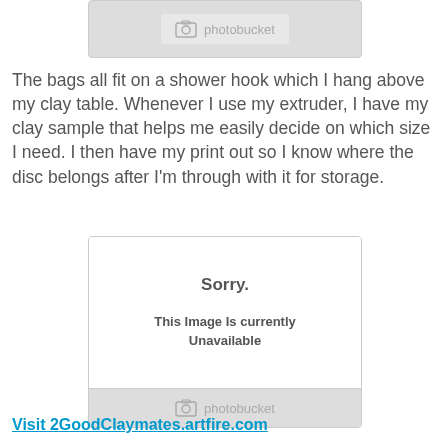[Figure (screenshot): Photobucket placeholder image (top) — grey box with photobucket logo]
The bags all fit on a shower hook which I hang above my clay table. Whenever I use my extruder, I have my clay sample that helps me easily decide on which size I need. I then have my print out so I know where the disc belongs after I'm through with it for storage.
[Figure (screenshot): Photobucket placeholder showing 'Sorry. This Image Is currently Unavailable' with photobucket logo footer]
Visit 2GoodClaymates.artfire.com